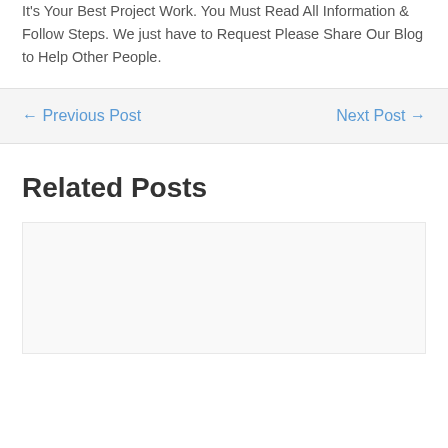It's Your Best Project Work. You Must Read All Information & Follow Steps. We just have to Request Please Share Our Blog to Help Other People.
← Previous Post    Next Post →
Related Posts